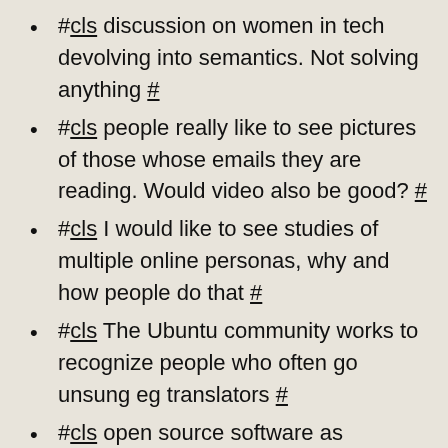#cls discussion on women in tech devolving into semantics. Not solving anything #
#cls people really like to see pictures of those whose emails they are reading. Would video also be good? #
#cls I would like to see studies of multiple online personas, why and how people do that #
#cls The Ubuntu community works to recognize people who often go unsung eg translators #
#cls open source software as appropriate